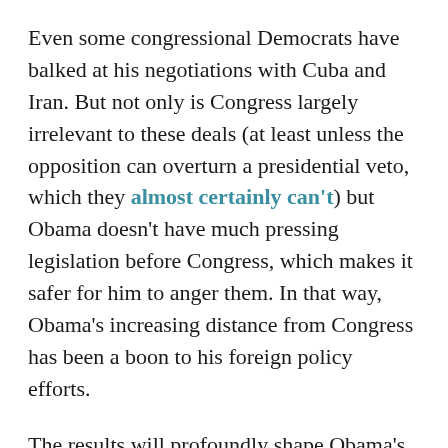Even some congressional Democrats have balked at his negotiations with Cuba and Iran. But not only is Congress largely irrelevant to these deals (at least unless the opposition can overturn a presidential veto, which they almost certainly can't) but Obama doesn't have much pressing legislation before Congress, which makes it safer for him to anger them. In that way, Obama's increasing distance from Congress has been a boon to his foreign policy efforts.
The results will profoundly shape Obama's foreign policy legacy. As my colleague Dylan Matthews wrote, "Obama has reestablished productive diplomacy as the central task of a progressive foreign policy, and as a viable alternative approach to dealing with countries the GOP foreign policy...